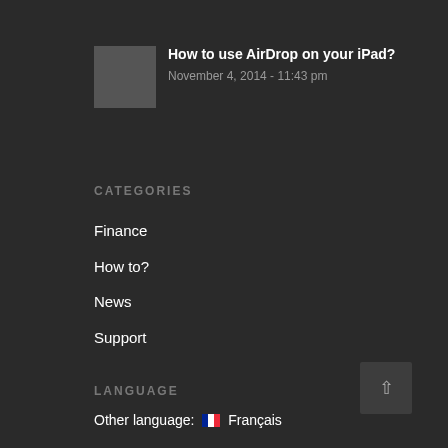[Figure (photo): Gray thumbnail image placeholder for blog post]
How to use AirDrop on your iPad?
November 4, 2014 - 11:43 pm
CATEGORIES
Finance
How to?
News
Support
LANGUAGE
Other language: 🇫🇷 Français